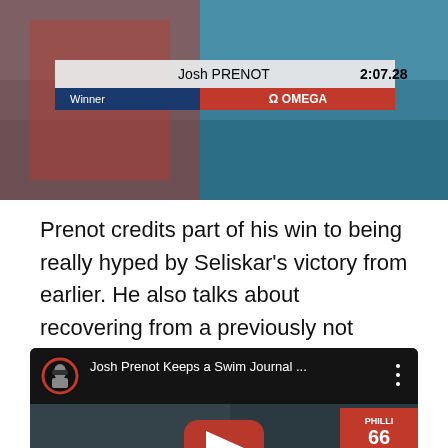[Figure (screenshot): Swimming competition scoreboard screenshot showing Josh PRENOT with time 2:07.28, Winner label, and OMEGA branding]
Prenot credits part of his win to being really hyped by Seliskar's victory from earlier. He also talks about recovering from a previously not widely known injury in the past year.
[Figure (screenshot): YouTube video thumbnail showing Josh Prenot Keeps a Swim Journal ... with play button, subtitle caption 'How bad was the injury?' and SwimSwam/NATIO CHAMPIO branding]